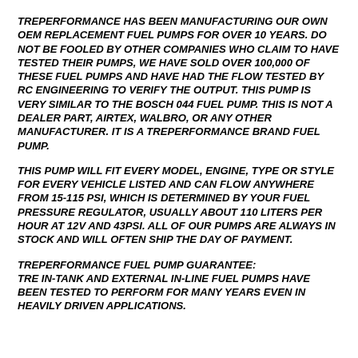TREPERFORMANCE HAS BEEN MANUFACTURING OUR OWN OEM REPLACEMENT FUEL PUMPS FOR OVER 10 YEARS. DO NOT BE FOOLED BY OTHER COMPANIES WHO CLAIM TO HAVE TESTED THEIR PUMPS, WE HAVE SOLD OVER 100,000 OF THESE FUEL PUMPS AND HAVE HAD THE FLOW TESTED BY RC ENGINEERING TO VERIFY THE OUTPUT. THIS PUMP IS VERY SIMILAR TO THE BOSCH 044 FUEL PUMP. THIS IS NOT A DEALER PART, AIRTEX, WALBRO, OR ANY OTHER MANUFACTURER. IT IS A TREPERFORMANCE BRAND FUEL PUMP.
THIS PUMP WILL FIT EVERY MODEL, ENGINE, TYPE OR STYLE FOR EVERY VEHICLE LISTED AND CAN FLOW ANYWHERE FROM 15-115 PSI, WHICH IS DETERMINED BY YOUR FUEL PRESSURE REGULATOR, USUALLY ABOUT 110 LITERS PER HOUR AT 12V AND 43PSI. ALL OF OUR PUMPS ARE ALWAYS IN STOCK AND WILL OFTEN SHIP THE DAY OF PAYMENT.
TREPERFORMANCE FUEL PUMP GUARANTEE: TRE IN-TANK AND EXTERNAL IN-LINE FUEL PUMPS HAVE BEEN TESTED TO PERFORM FOR MANY YEARS EVEN IN HEAVILY DRIVEN APPLICATIONS.